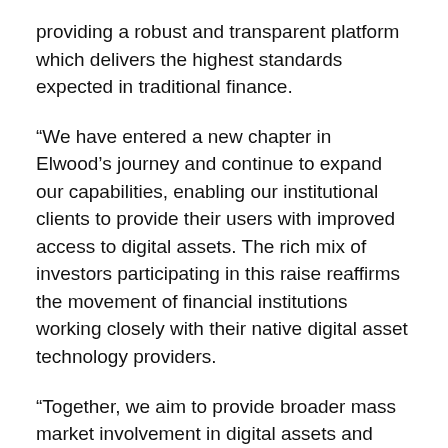providing a robust and transparent platform which delivers the highest standards expected in traditional finance.
“We have entered a new chapter in Elwood’s journey and continue to expand our capabilities, enabling our institutional clients to provide their users with improved access to digital assets. The rich mix of investors participating in this raise reaffirms the movement of financial institutions working closely with their native digital asset technology providers.
“Together, we aim to provide broader mass market involvement in digital assets and cryptocurrency. We look forward to working with our investors to further enhance our offerings and broaden their market adoption.”
Dawn Capital and Goldman Sachs also remained clear in their statement about what the end goal of the funding round